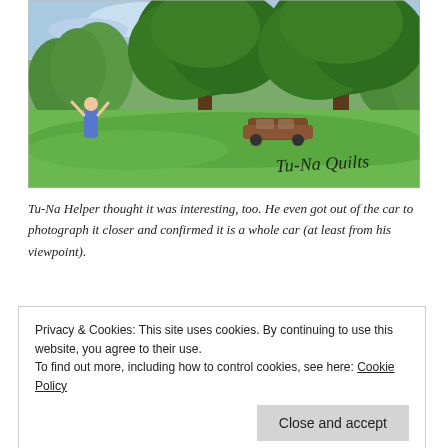[Figure (photo): Outdoor summer photo showing a green grassy field with large leafy trees. A rusted old car is parked under the trees in the middle distance. A person in a blue dress stands in the left foreground with arms raised. The watermark text 'Tu-Na Quilts' appears in a handwritten style at the lower right.]
Tu-Na Helper thought it was interesting, too. He even got out of the car to photograph it closer and confirmed it is a whole car (at least from his viewpoint).
Privacy & Cookies: This site uses cookies. By continuing to use this website, you agree to their use.
To find out more, including how to control cookies, see here: Cookie Policy
Close and accept
(partial text visible at bottom)